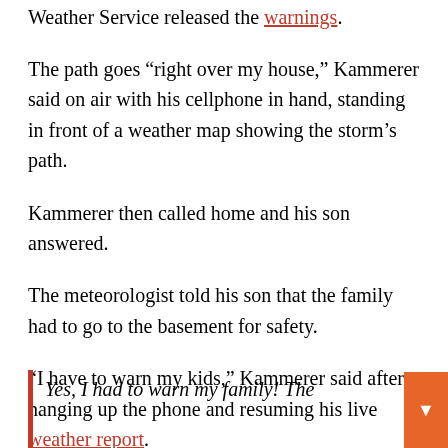Weather Service released the warnings.
The path goes “right over my house,” Kammerer said on air with his cellphone in hand, standing in front of a weather map showing the storm’s path.
Kammerer then called home and his son answered.
The meteorologist told his son that the family had to go to the basement for safety.
“I have to warn my kids,” Kammerer said after hanging up the phone and resuming his live weather report.
Yes, I had to warn my family! The